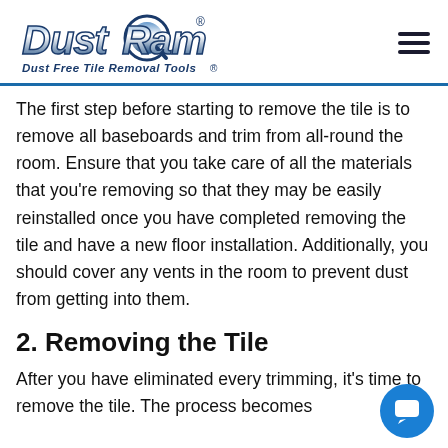[Figure (logo): DustRam logo with text 'Dust Free Tile Removal Tools' and hamburger menu icon]
The first step before starting to remove the tile is to remove all baseboards and trim from all-round the room. Ensure that you take care of all the materials that you're removing so that they may be easily reinstalled once you have completed removing the tile and have a new floor installation. Additionally, you should cover any vents in the room to prevent dust from getting into them.
2. Removing the Tile
After you have eliminated every trimming, it's time to remove the tile. The process becomes